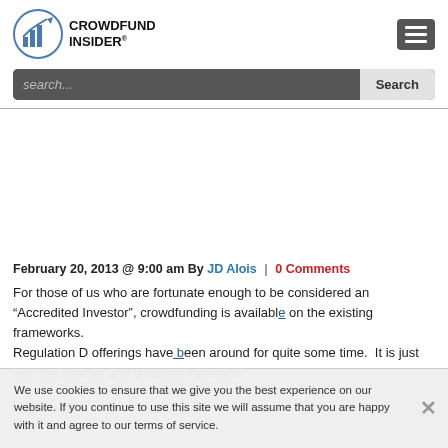[Figure (logo): Crowdfund Insider logo with bar chart icon and text]
search...
February 20, 2013 @ 9:00 am By JD Alois | 0 Comments
For those of us who are fortunate enough to be considered an "Accredited Investor", crowdfunding is available... Regulation D offerings have been around for quite some time. It is just with the internet and a vibrant interest in
We use cookies to ensure that we give you the best experience on our website. If you continue to use this site we will assume that you are happy with it and agree to our terms of service.